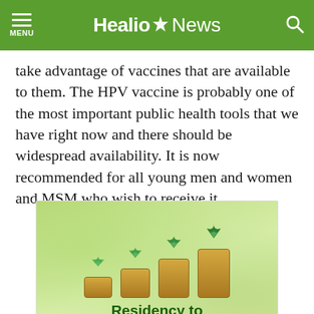Healio News
take advantage of vaccines that are available to them. The HPV vaccine is probably one of the most important public health tools that we have right now and there should be widespread availability. It is now recommended for all young men and women and MSM who wish to receive it.
[Figure (photo): Advertisement image showing stacks of gold coins with green plants growing from them, increasing in height from left to right, with text 'Residency to Retirement' overlaid at the bottom on a blurred green background.]